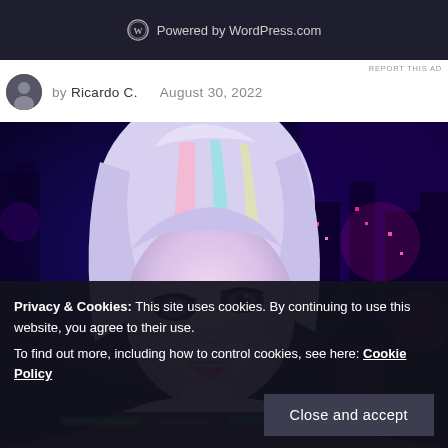[Figure (screenshot): WordPress.com powered ad banner with logo and text on dark background]
REPORT THIS AD
by Ricardo C.    August 30, 2022
[Figure (illustration): Anime-style illustration of a female character with multicolor hair in a cyberpunk setting with blue and purple neon lights]
Privacy & Cookies: This site uses cookies. By continuing to use this website, you agree to their use.
To find out more, including how to control cookies, see here: Cookie Policy
Close and accept